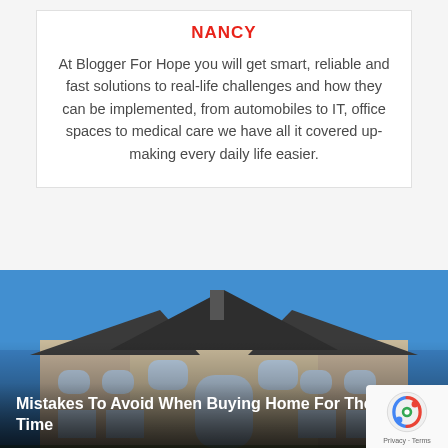NANCY
At Blogger For Hope you will get smart, reliable and fast solutions to real-life challenges and how they can be implemented, from automobiles to IT, office spaces to medical care we have all it covered up-making every daily life easier.
[Figure (photo): Large two-story house with dark roof, arched windows, and blue sky background]
Mistakes To Avoid When Buying Home For The First Time